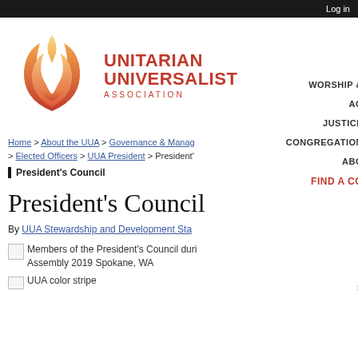Log in
[Figure (logo): Unitarian Universalist Association logo with flame chalice symbol]
WORSHIP &
AG
JUSTICE
CONGREGATION
ABO
FIND A CO
Home > About the UUA > Governance & Manag > Elected Officers > UUA President > President's
President's Council
President's Council
By UUA Stewardship and Development Sta
[Figure (photo): Members of the President's Council during Assembly 2019 Spokane, WA]
[Figure (illustration): UUA color stripe]